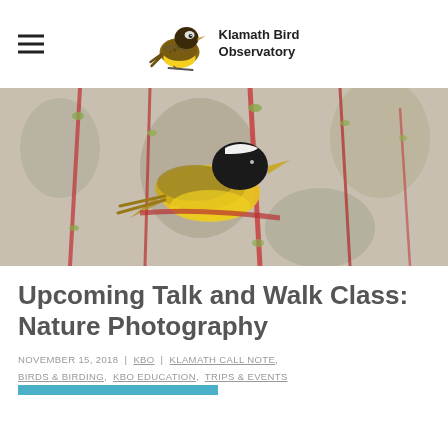Klamath Bird Observatory
[Figure (photo): A yellow bird (Common Yellowthroat warbler) with black mask perched among red-stemmed branches with small green buds, wide banner photograph]
Upcoming Talk and Walk Class: Nature Photography
NOVEMBER 15, 2018 | KBO | KLAMATH CALL NOTE, BIRDS & BIRDING, KBO EDUCATION, TRIPS & EVENTS